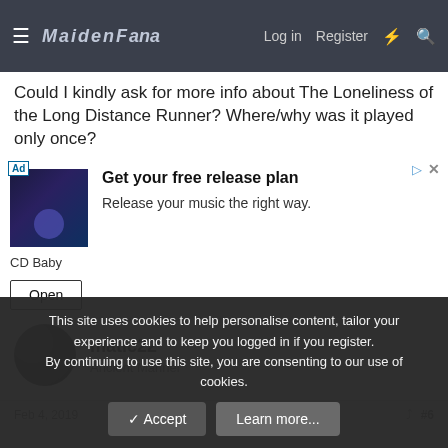MaidenFans — Log in  Register
Could I kindly ask for more info about The Loneliness of the Long Distance Runner? Where/why was it played only once?
[Figure (screenshot): Advertisement banner: Get your free release plan. Release your music the right way. CD Baby. Open button.]
matic22
Ancient Mariner
Feb 4, 2019  #6
This site uses cookies to help personalise content, tailor your experience and to keep you logged in if you register.
By continuing to use this site, you are consenting to our use of cookies.
✓ Accept    Learn more...